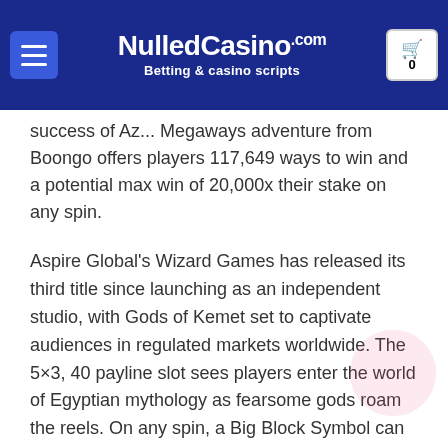NulledCasino.com — Betting & casino scripts
success of Az... Megaways adventure from Boongo offers players 117,649 ways to win and a potential max win of 20,000x their stake on any spin.
Aspire Global's Wizard Games has released its third title since launching as an independent studio, with Gods of Kemet set to captivate audiences in regulated markets worldwide. The 5×3, 40 payline slot sees players enter the world of Egyptian mythology as fearsome gods roam the reels. On any spin, a Big Block Symbol can land, transforming a high-paying symbol that lands in the centre of reel three into a mammoth 3×3 symbol for increased win potential.